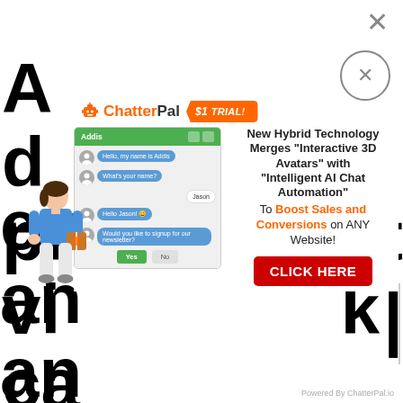[Figure (screenshot): ChatterPal advertisement popup overlay showing a $1 TRIAL offer. Features the ChatterPal logo, an orange '$1 TRIAL!' badge, a chat interface mockup with a 3D avatar, and text: 'New Hybrid Technology Merges "Interactive 3D Avatars" with "Intelligent AI Chat Automation" To Boost Sales and Conversions on ANY Website!' with a red CLICK HERE button. Two close buttons (X) in top right. Background shows partially cropped large black letters. Bottom right: 'Powered By ChatterPal.io']